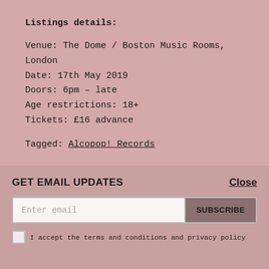Listings details:
Venue: The Dome / Boston Music Rooms, London
Date: 17th May 2019
Doors: 6pm – late
Age restrictions: 18+
Tickets: £16 advance
Tagged: Alcopop! Records
GET EMAIL UPDATES
Close
Enter email
SUBSCRIBE
I accept the terms and conditions and privacy policy